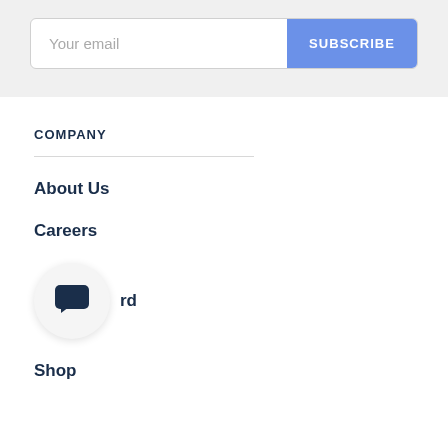Your email
SUBSCRIBE
COMPANY
About Us
Careers
rd
Shop